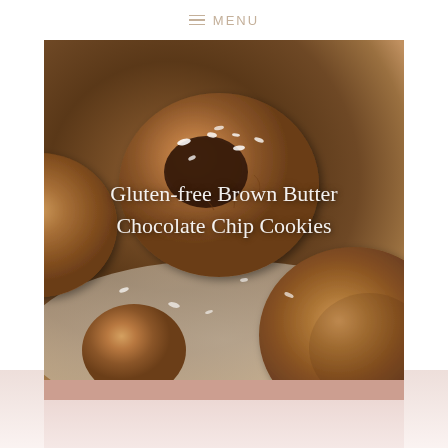≡ MENU
[Figure (photo): Close-up photo of gluten-free brown butter chocolate chip cookies on parchment paper, sprinkled with flaky sea salt. The cookies are golden brown with melted chocolate visible.]
Gluten-free Brown Butter Chocolate Chip Cookies